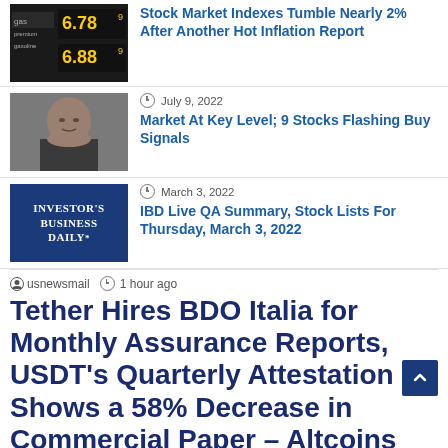[Figure (photo): Gas station price sign showing prices 6.789 and 6.889]
Stock Market Indexes Tumble Nearly 2% After Another Hot Inflation Report
[Figure (photo): Photo of Elon Musk]
July 9, 2022
Market At Key Level; 9 Stocks Flashing Buy Signals
[Figure (logo): Investor's Business Daily logo on dark blue background]
March 3, 2022
IBD Live QA Summary, Stock Lists For Thursday, March 3, 2022
usnewsmail   1 hour ago
Tether Hires BDO Italia for Monthly Assurance Reports, USDT's Quarterly Attestation Shows a 58% Decrease in Commercial Paper – Altcoins Bitcoin News
This week, the stablecoin issuer Tether Holdings Limited revealed an update to its assurance and attestation process and detailed that…